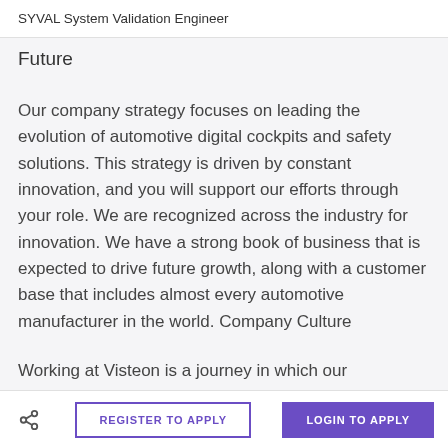SYVAL System Validation Engineer
Future
Our company strategy focuses on leading the evolution of automotive digital cockpits and safety solutions. This strategy is driven by constant innovation, and you will support our efforts through your role. We are recognized across the industry for innovation. We have a strong book of business that is expected to drive future growth, along with a customer base that includes almost every automotive manufacturer in the world. Company Culture
Working at Visteon is a journey in which our employees can develop their strengths and advance their careers